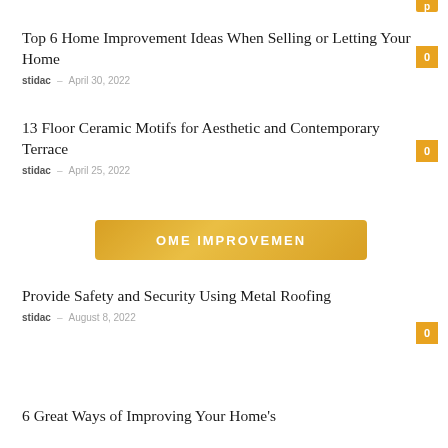Top 6 Home Improvement Ideas When Selling or Letting Your Home
stidac – April 30, 2022
13 Floor Ceramic Motifs for Aesthetic and Contemporary Terrace
stidac – April 25, 2022
[Figure (illustration): Yellow/golden brushstroke highlight banner with text 'OME IMPROVEMENT' (partially visible)]
Provide Safety and Security Using Metal Roofing
stidac – August 8, 2022
6 Great Ways of Improving Your Home's